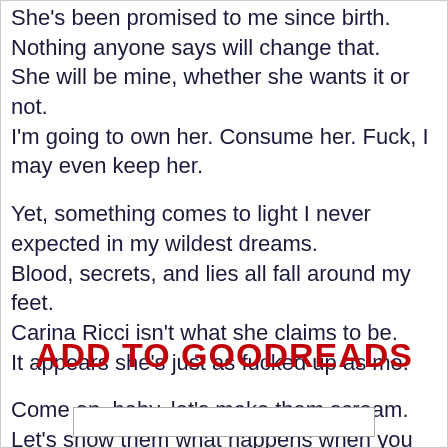She's been promised to me since birth.
Nothing anyone says will change that.
She will be mine, whether she wants it or not.
I'm going to own her. Consume her. Fuck, I may even keep her.

Yet, something comes to light I never expected in my wildest dreams.
Blood, secrets, and lies all fall around my feet.
Carina Ricci isn't what she claims to be.
It appears she's just as fucked up as me.

Come on, baby, let's make them scream.
Let's show them what happens when you anger a King and his Queen.
ADD TO GOODREADS